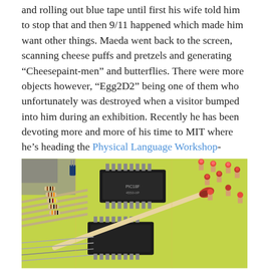and rolling out blue tape until first his wife told him to stop that and then 9/11 happened which made him want other things. Maeda went back to the screen, scanning cheese puffs and pretzels and generating “Cheesepaint-men” and butterflies. There were more objects however, “Egg2D2” being one of them who unfortunately was destroyed when a visitor bumped into him during an exhibition. Recently he has been devoting more and more of his time to MIT where he’s heading the Physical Language Workshop-group.
[Figure (photo): Close-up photograph of a green circuit board with black IC chips, resistors, wires, and a red-tipped match placed across the components]